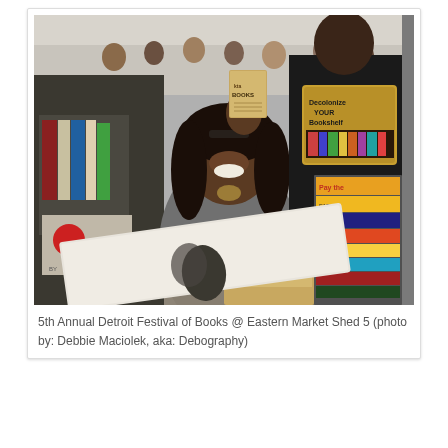[Figure (photo): A smiling woman at a book fair booth holding up a small book, surrounded by stacks of books including colorful titles on the right and a man standing behind her wearing a hoodie with a bookshelf graphic. The setting appears to be an indoor market or festival venue.]
5th Annual Detroit Festival of Books @ Eastern Market Shed 5 (photo by: Debbie Maciolek, aka: Debography)